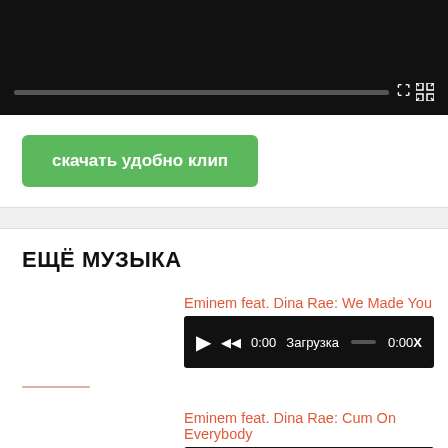[Figure (screenshot): Black video player area with progress bar and fullscreen icon]
скачать удобно клип
ЕЩЁ МУЗЫКА
Eminem feat. Dina Rae: We Made You
[Figure (screenshot): Audio player bar with play, rewind, 0:00, Загрузка, 0:00X controls]
Eminem feat. Dina Rae: Cum On Everybody
[Figure (screenshot): Audio player bar with play, rewind, 0:00, Загрузка, 0:00X controls]